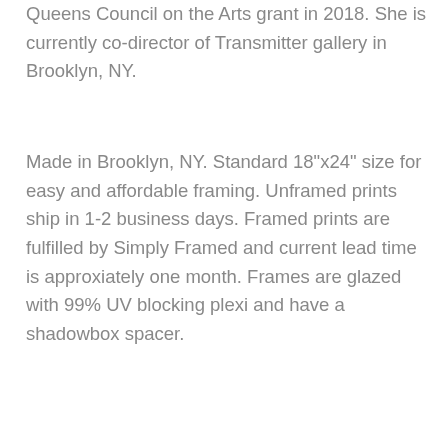Queens Council on the Arts grant in 2018. She is currently co-director of Transmitter gallery in Brooklyn, NY.
Made in Brooklyn, NY. Standard 18"x24" size for easy and affordable framing. Unframed prints ship in 1-2 business days. Framed prints are fulfilled by Simply Framed and current lead time is approxiately one month. Frames are glazed with 99% UV blocking plexi and have a shadowbox spacer.
[Figure (other): Social sharing buttons: Facebook Share, Twitter Tweet, Pinterest Pin It]
SIMILAR PRODUCTS
[Figure (photo): Product image 1: black and white mountain illustration print with border]
[Figure (photo): Product image 2: purple/pink sky with bird silhouette artwork]